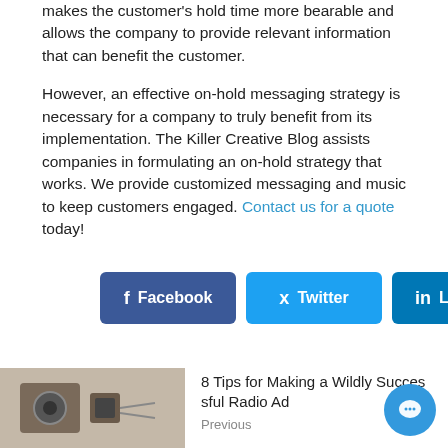makes the customer's hold time more bearable and allows the company to provide relevant information that can benefit the customer.
However, an effective on-hold messaging strategy is necessary for a company to truly benefit from its implementation. The Killer Creative Blog assists companies in formulating an on-hold strategy that works. We provide customized messaging and music to keep customers engaged. Contact us for a quote today!
[Figure (other): Social share buttons: Facebook, Twitter, LinkedIn]
[Figure (photo): Thumbnail photo of a vintage radio or recording equipment]
8 Tips for Making a Wildly Successful Radio Ad
Previous